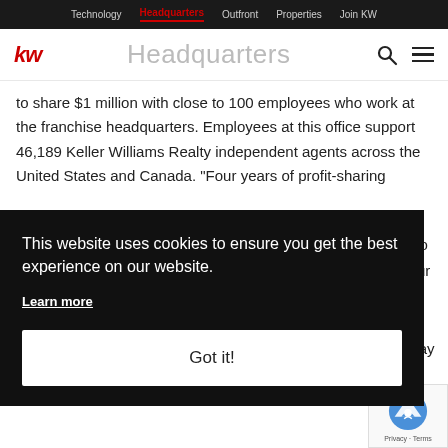Technology | Headquarters | Outfront | Properties | Join KW
Headquarters
to share $1 million with close to 100 employees who work at the franchise headquarters. Employees at this office support 46,189 Keller Williams Realty independent agents across the United States and Canada. "Four years of profit-sharing
This website uses cookies to ensure you get the best experience on our website.
Learn more
Got it!